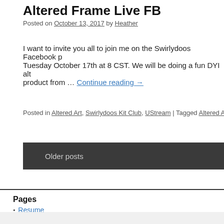Altered Frame Live FB
Posted on October 13, 2017 by Heather
I want to invite you all to join me on the Swirlydoos Facebook p… Tuesday October 17th at 8 CST. We will be doing a fun DYI alt… product from … Continue reading →
Posted in Altered Art, Swirlydoos Kit Club, UStream | Tagged Altered Art, Mix…
Older posts
Pages
Resume
Heather's Creations – Inside and Out